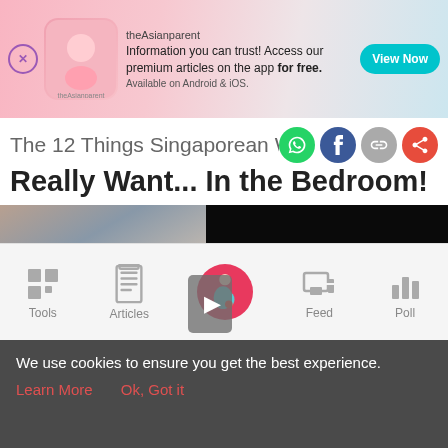[Figure (screenshot): theAsianparent app advertisement banner with pink background, app logo, text about premium articles, and View Now button]
The 12 Things Singaporean Women Really Want... In the Bedroom!
[Figure (photo): Article image showing a couple, with navigation arrow overlay and dark right panel]
[Figure (screenshot): Mobile app bottom navigation bar with Tools, Articles, home (pregnant woman icon), Feed, and Poll icons]
We use cookies to ensure you get the best experience.
Learn More   Ok, Got it